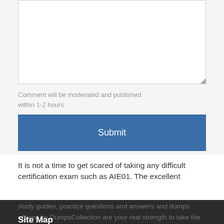[Figure (screenshot): Text area input box, empty, with resize handle at bottom right]
Comment will be moderated and published within 1-2 hours
Submit
It is not a time to get scared of taking any difficult certification exam such as AIE01. The excellent study guides, practice questions and answers and dumps offered by DumpsCollection are your real strength to take the test with confidence and pass it without
Site Map
Home